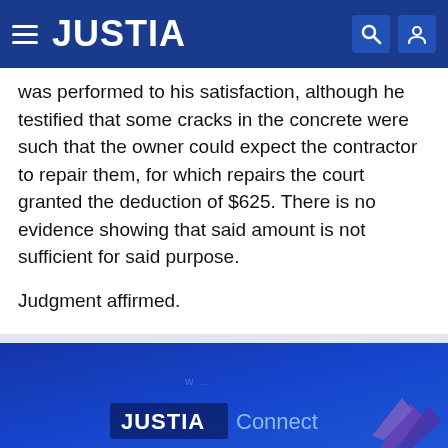JUSTIA
was performed to his satisfaction, although he testified that some cracks in the concrete were such that the owner could expect the contractor to repair them, for which repairs the court granted the deduction of $625. There is no evidence showing that said amount is not sufficient for said purpose.
Judgment affirmed.
[Figure (logo): JUSTIA Connect logo with stylized arrow graphic on dark blue background]